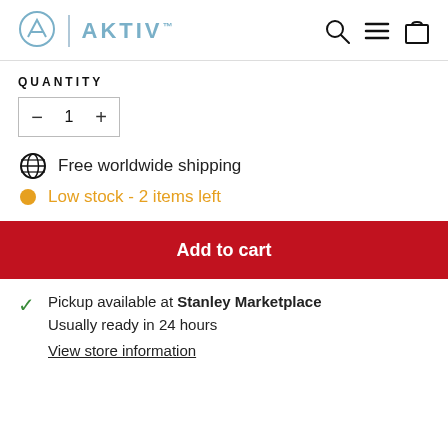AKTIV
QUANTITY
1
Free worldwide shipping
Low stock - 2 items left
Add to cart
Pickup available at Stanley Marketplace
Usually ready in 24 hours
View store information